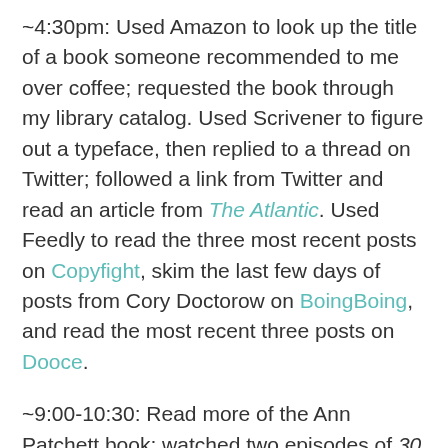~4:30pm: Used Amazon to look up the title of a book someone recommended to me over coffee; requested the book through my library catalog. Used Scrivener to figure out a typeface, then replied to a thread on Twitter; followed a link from Twitter and read an article from The Atlantic. Used Feedly to read the three most recent posts on Copyfight, skim the last few days of posts from Cory Doctorow on BoingBoing, and read the most recent three posts on Dooce.
~9:00-10:30: Read more of the Ann Patchett book; watched two episodes of 30 Rock (final season) from Netflix.
I'll answer Gillmore's questions one by one, starting with…